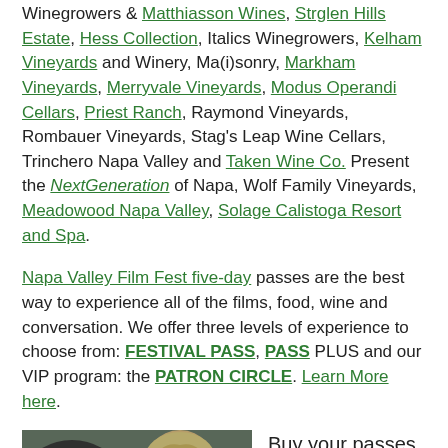Winegrowers & Matthiasson Wines, Strglen Hills Estate, Hess Collection, Italics Winegrowers, Kelham Vineyards and Winery, Ma(i)sonry, Markham Vineyards, Merryvale Vineyards, Modus Operandi Cellars, Priest Ranch, Raymond Vineyards, Rombauer Vineyards, Stag's Leap Wine Cellars, Trinchero Napa Valley and Taken Wine Co. Present the NextGeneration of Napa, Wolf Family Vineyards, Meadowood Napa Valley, Solage Calistoga Resort and Spa.
Napa Valley Film Fest five-day passes are the best way to experience all of the films, food, wine and conversation. We offer three levels of experience to choose from: FESTIVAL PASS, PASS PLUS and our VIP program: the PATRON CIRCLE. Learn More here.
[Figure (photo): Photo of a woman with blonde hair in vintage style dress at what appears to be a formal event, with a man in a dark suit with his back to camera]
Buy your passes here: Napa Film Fest Passes